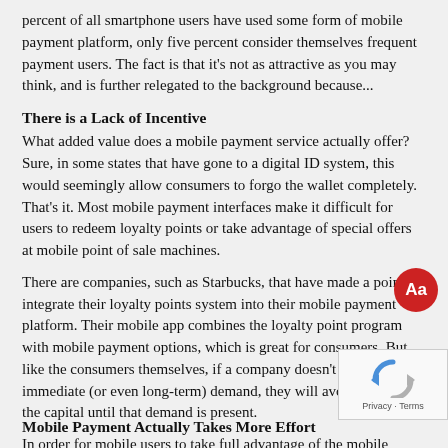percent of all smartphone users have used some form of mobile payment platform, only five percent consider themselves frequent payment users. The fact is that it's not as attractive as you may think, and is further relegated to the background because...
There is a Lack of Incentive
What added value does a mobile payment service actually offer? Sure, in some states that have gone to a digital ID system, this would seemingly allow consumers to forgo the wallet completely. That's it. Most mobile payment interfaces make it difficult for users to redeem loyalty points or take advantage of special offers at mobile point of sale machines.
There are companies, such as Starbucks, that have made a point to integrate their loyalty points system into their mobile payment platform. Their mobile app combines the loyalty point program with mobile payment options, which is great for consumers. But like the consumers themselves, if a company doesn't see an immediate (or even long-term) demand, they will avoid laying out the capital until that demand is present.
In order for mobile users to take full advantage of the mobile platforms, you will need to give them some form of incentive. This is mainly since...
Mobile Payment Actually Takes More Effort